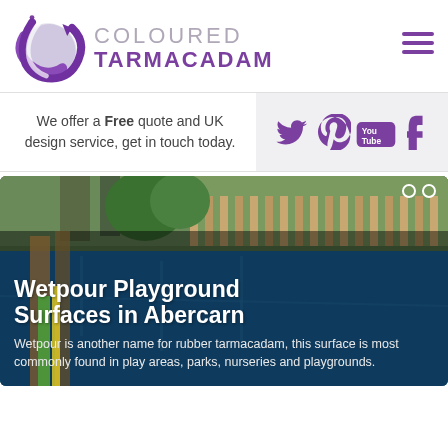[Figure (logo): Coloured Tarmacadam logo with purple globe/sphere icon and text 'COLOURED TARMACADAM']
We offer a Free quote and UK design service, get in touch today.
[Figure (infographic): Social media icons: Twitter, Pinterest, YouTube, Tumblr in purple on light grey background]
[Figure (photo): Playground with blue wetpour rubber surface, with overlaid title text 'Wetpour Playground Surfaces in Abercarn' and description text]
Wetpour Playground Surfaces in Abercarn
Wetpour is another name for rubber tarmacadam, this surface is most commonly found in play areas, parks, nurseries and playgrounds.